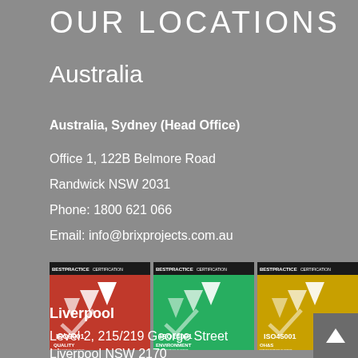OUR LOCATIONS
Australia
Australia, Sydney (Head Office)
Office 1, 122B Belmore Road
Randwick NSW 2031
Phone: 1800 621 066
Email: info@brixprojects.com.au
[Figure (logo): Three Best Practice Certification logos: ISO 9001 Quality Management System (red), ISO 14001 Environment Management System (green), ISO 45001 OH&S Management System (yellow/gold)]
Liverpool
Level 2, 215/219 George Street
Liverpool NSW 2170